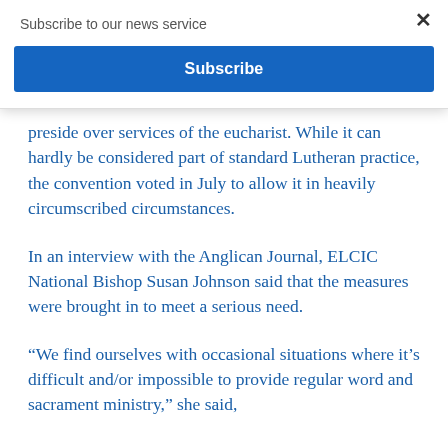Subscribe to our news service
Subscribe
preside over services of the eucharist. While it can hardly be considered part of standard Lutheran practice, the convention voted in July to allow it in heavily circumscribed circumstances.
In an interview with the Anglican Journal, ELCIC National Bishop Susan Johnson said that the measures were brought in to meet a serious need.
“We find ourselves with occasional situations where it’s difficult and/or impossible to provide regular word and sacrament ministry,” she said, explaining that after considering a number of